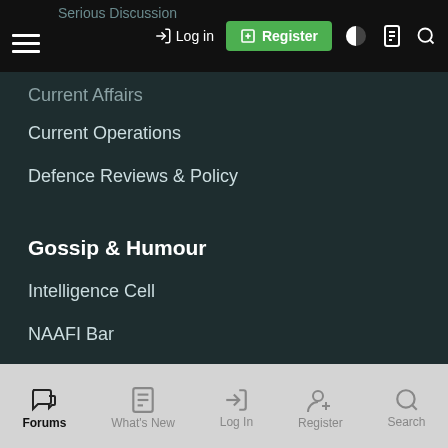Serious Discussion
Log in | Register
Current Affairs
Current Operations
Defence Reviews & Policy
Gossip & Humour
Intelligence Cell
NAAFI Bar
Jokes
Joining Up
Officers
Forums | What's New | Log In | Register | Search